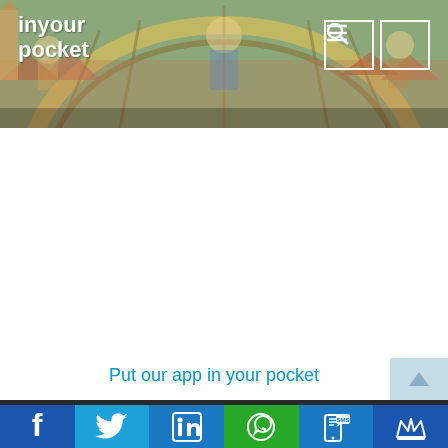[Figure (screenshot): In Your Pocket website header banner with mosaic/fresco artwork depicting religious and architectural scenes. White 'inyour pocket' logo text on left, search icon and menu icon on right.]
Put our app in your pocket
[Figure (infographic): Social media sharing bar with icons: Facebook (blue), Twitter (cyan), LinkedIn (blue), WhatsApp (green), SMS/mobile (blue), Crown/loyalty (blue)]